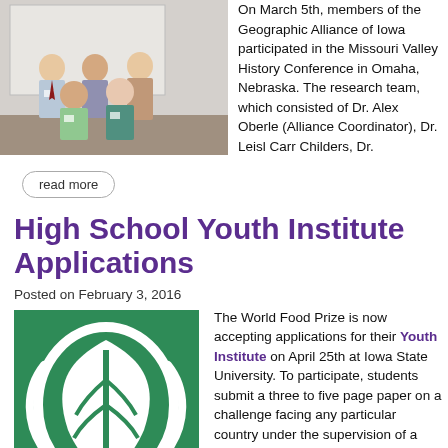[Figure (photo): Group photo of five people standing in front of a screen in a conference room setting.]
On March 5th, members of the Geographic Alliance of Iowa participated in the Missouri Valley History Conference in Omaha, Nebraska. The research team, which consisted of Dr. Alex Oberle (Alliance Coordinator), Dr. Leisl Carr Childers, Dr.
read more
High School Youth Institute Applications
Posted on February 3, 2016
[Figure (logo): World Food Prize logo — green square with white oval leaf design on a green background.]
The World Food Prize is now accepting applications for their Youth Institute on April 25th at Iowa State University. To participate, students submit a three to five page paper on a challenge facing any particular country under the supervision of a